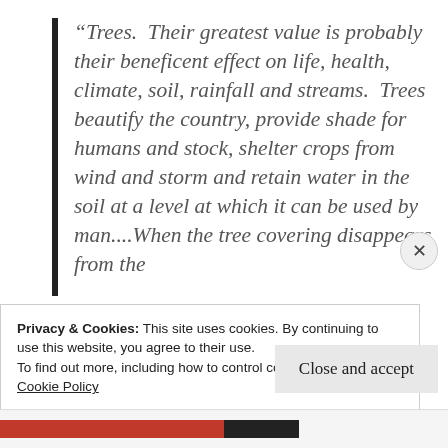“Trees.  Their greatest value is probably their beneficent effect on life, health, climate, soil, rainfall and streams.  Trees beautify the country, provide shade for humans and stock, shelter crops from wind and storm and retain water in the soil at a level at which it can be used by man....When the tree covering disappears from the
Privacy & Cookies: This site uses cookies. By continuing to use this website, you agree to their use.
To find out more, including how to control cookies, see here:
Cookie Policy
Close and accept